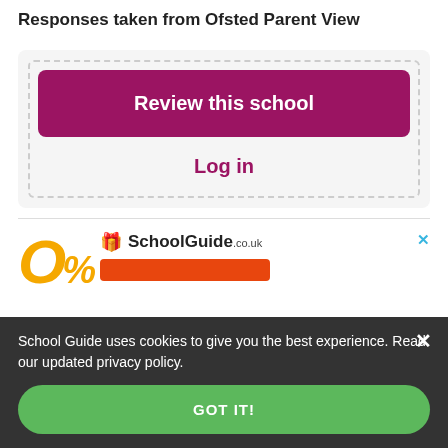Responses taken from Ofsted Parent View
Review this school
Log in
[Figure (screenshot): School Guide advertisement with yellow percentage graphic and orange button]
School Guide uses cookies to give you the best experience. Read our updated privacy policy.
GOT IT!